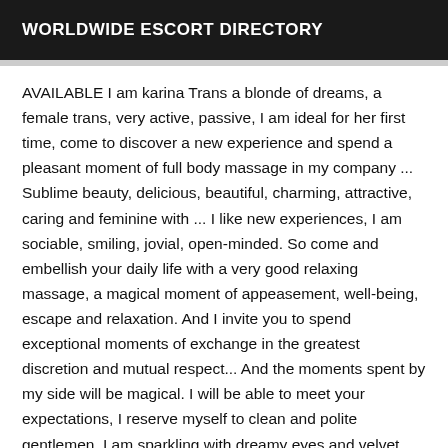WORLDWIDE ESCORT DIRECTORY
AVAILABLE I am karina Trans a blonde of dreams, a female trans, very active, passive, I am ideal for her first time, come to discover a new experience and spend a pleasant moment of full body massage in my company ... Sublime beauty, delicious, beautiful, charming, attractive, caring and feminine with ... I like new experiences, I am sociable, smiling, jovial, open-minded. So come and embellish your daily life with a very good relaxing massage, a magical moment of appeasement, well-being, escape and relaxation. And I invite you to spend exceptional moments of exchange in the greatest discretion and mutual respect... And the moments spent by my side will be magical. I will be able to meet your expectations, I reserve myself to clean and polite gentlemen, I am sparkling with dreamy eyes and velvet skin, I have 32 years old, I am 1.70 m tall, I like discretion. My apartment is discreet, quiet, perfect